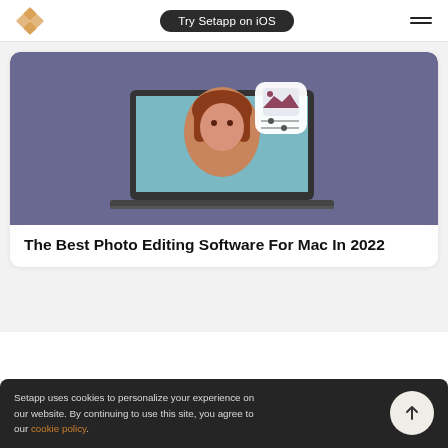[Figure (logo): Setapp diamond logo in orange/gold color]
Try Setapp on iOS
[Figure (illustration): Hamburger menu icon (two horizontal lines)]
[Figure (screenshot): Card with purple/blue background showing a laptop with a woman with red hair on screen and a photo editing app icon overlay]
The Best Photo Editing Software For Mac In 2022
Setapp uses cookies to personalize your experience on our website. By continuing to use this site, you agree to our cookie policy.